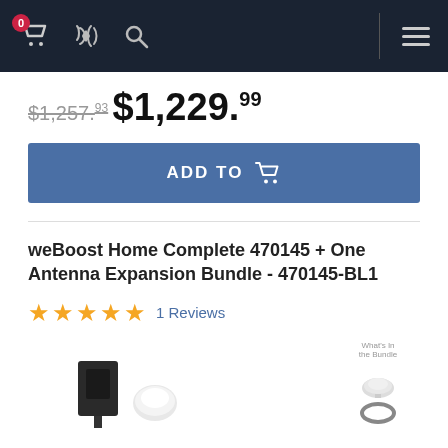Navigation bar with cart (0), phone, search, divider, menu icons
$1,257.93 (strikethrough, old price)
$1,229.99 (current price)
ADD TO [cart]
weBoost Home Complete 470145 + One Antenna Expansion Bundle - 470145-BL1
★★★★★ 1 Reviews
[Figure (photo): Product bundle image showing weBoost Home Complete signal booster kit components including a black flat panel antenna and white indoor components, plus a sidebar showing 'What's in the Bundle' with antenna and cable accessories]